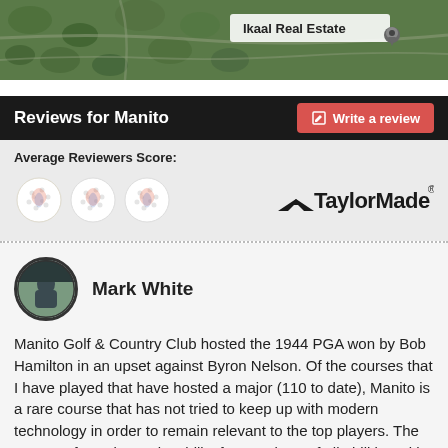[Figure (map): Satellite/aerial map view with 'Ikaal Real Estate' location pin marker]
Reviews for Manito
Average Reviewers Score:
[Figure (logo): TaylorMade golf brand logo]
Mark White
Manito Golf & Country Club hosted the 1944 PGA won by Bob Hamilton in an upset against Byron Nelson. Of the courses that I have played that have hosted a major (110 to date), Manito is a rare course that has not tried to keep up with modern technology in order to remain relevant to the top players. The course's focus is on playability for members of all abilities with only a few holes holding a challenge. These holes are the ones with small ponds.